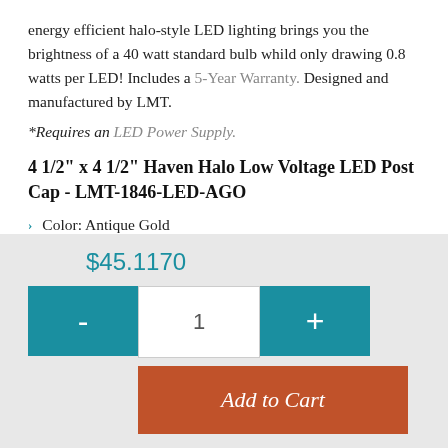energy efficient halo-style LED lighting brings you the brightness of a 40 watt standard bulb whild only drawing 0.8 watts per LED! Includes a 5-Year Warranty. Designed and manufactured by LMT. *Requires an LED Power Supply.
4 1/2" x 4 1/2" Haven Halo Low Voltage LED Post Cap - LMT-1846-LED-AGO
Color: Antique Gold
5000 Kelvin, 22 Lumens
Total Height: 3.80"
Corner Radius: 0.25"
$45.1170
- 1 + Add to Cart